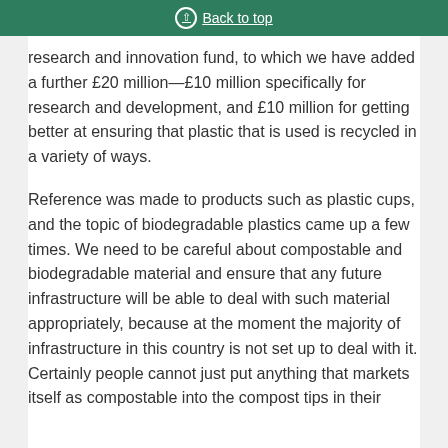Back to top
research and innovation fund, to which we have added a further £20 million—£10 million specifically for research and development, and £10 million for getting better at ensuring that plastic that is used is recycled in a variety of ways.
Reference was made to products such as plastic cups, and the topic of biodegradable plastics came up a few times. We need to be careful about compostable and biodegradable material and ensure that any future infrastructure will be able to deal with such material appropriately, because at the moment the majority of infrastructure in this country is not set up to deal with it. Certainly people cannot just put anything that markets itself as compostable into the compost tips in their